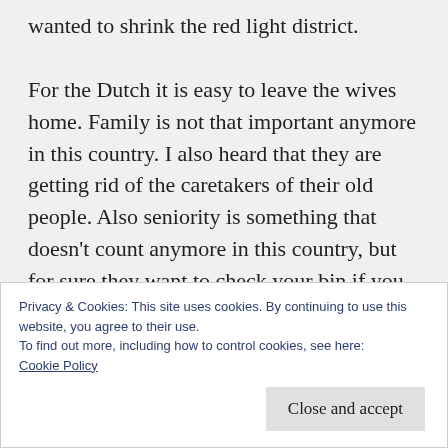wanted to shrink the red light district.

For the Dutch it is easy to leave the wives home. Family is not that important anymore in this country. I also heard that they are getting rid of the caretakers of their old people. Also seniority is something that doesn't count anymore in this country, but for sure they want to check your bin if you have a bit of radio active stuff you want to get rid of. They can use it, because in Petten the Dutch have a little
Privacy & Cookies: This site uses cookies. By continuing to use this website, you agree to their use.
To find out more, including how to control cookies, see here:
Cookie Policy
Close and accept